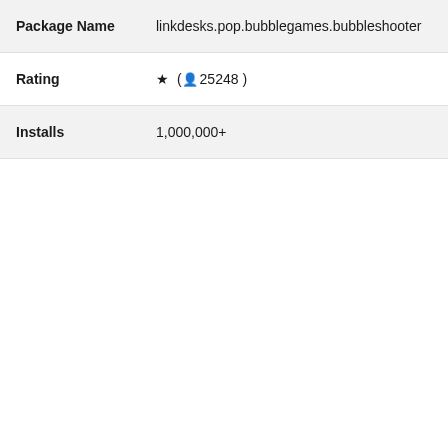| Field | Value |
| --- | --- |
| Package Name | linkdesks.pop.bubblegames.bubbleshooter |
| Rating | ★ (👤 25248) |
| Installs | 1,000,000+ |